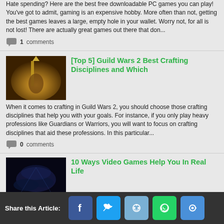Hate spending? Here are the best free downloadable PC games you can play! You've got to admit, gaming is an expensive hobby. More often than not, getting the best games leaves a large, empty hole in your wallet. Worry not, for all is not lost! There are actually great games out there that don...
1 comments
[Figure (photo): Game screenshot showing a fantasy warrior character with golden/warm lighting (Guild Wars 2 style)]
[Top 5] Guild Wars 2 Best Crafting Disciplines and Which
When it comes to crafting in Guild Wars 2, you should choose those crafting disciplines that help you with your goals. For instance, if you only play heavy professions like Guardians or Warriors, you will want to focus on crafting disciplines that aid these professions. In this particular...
0 comments
[Figure (photo): Dark game screenshot with blue/purple tones, appears to show a fantasy landscape]
10 Ways Video Games Help You In Real Life
Share this Article: